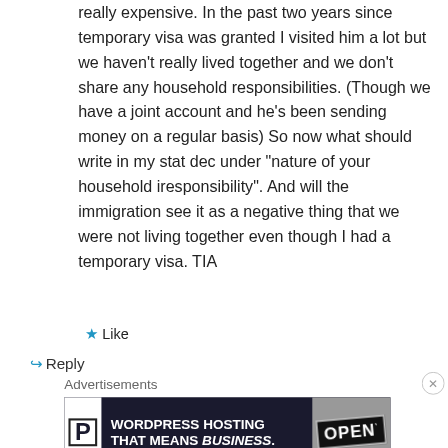really expensive. In the past two years since temporary visa was granted I visited him a lot but we haven't really lived together and we don't share any household responsibilities. (Though we have a joint account and he's been sending money on a regular basis) So now what should write in my stat dec under “nature of your household iresponsibility”. And will the immigration see it as a negative thing that we were not living together even though I had a temporary visa. TIA
Like
Reply
Advertisements
[Figure (screenshot): Advertisement banner for WordPress Hosting with dark background, P logo on white box, text 'WORDPRESS HOSTING THAT MEANS BUSINESS.' and an OPEN sign image on the right]